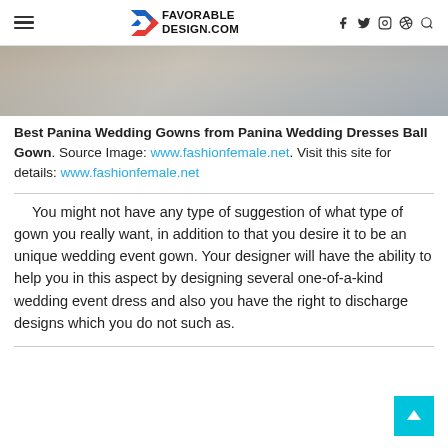FAVORABLE DESIGN.COM
[Figure (photo): Partial view of a wedding gown in muted gray/beige tones, cropped near the top]
Best Panina Wedding Gowns from Panina Wedding Dresses Ball Gown. Source Image: www.fashionfemale.net. Visit this site for details: www.fashionfemale.net
You might not have any type of suggestion of what type of gown you really want, in addition to that you desire it to be an unique wedding event gown. Your designer will have the ability to help you in this aspect by designing several one-of-a-kind wedding event dress and also you have the right to discharge designs which you do not such as.